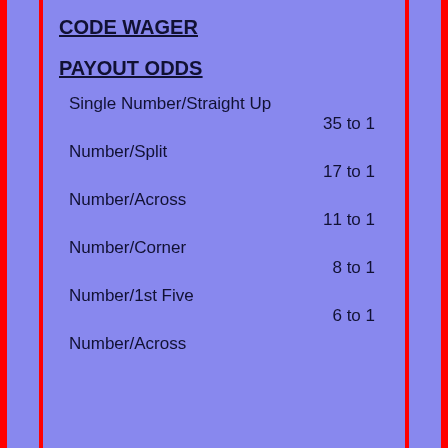CODE WAGER
PAYOUT ODDS
Single Number/Straight Up
35 to 1
Number/Split
17 to 1
Number/Across
11 to 1
Number/Corner
8 to 1
Number/1st Five
6 to 1
Number/Across